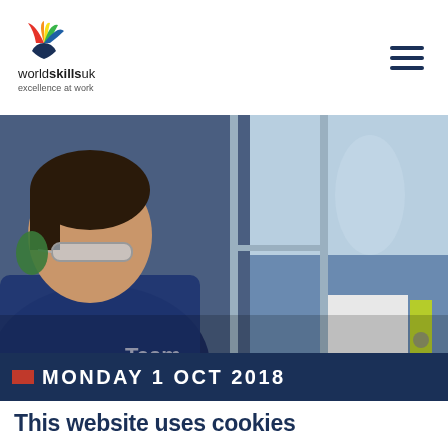[Figure (logo): WorldSkills UK logo with coloured emblem and text 'worldskillsuk excellence at work']
[Figure (photo): Young male student wearing safety glasses and navy blue 'Team' branded polo shirt, working on a technical/engineering task at a workbench with glass panel and tools visible]
MONDAY 1 OCT 2018
This website uses cookies